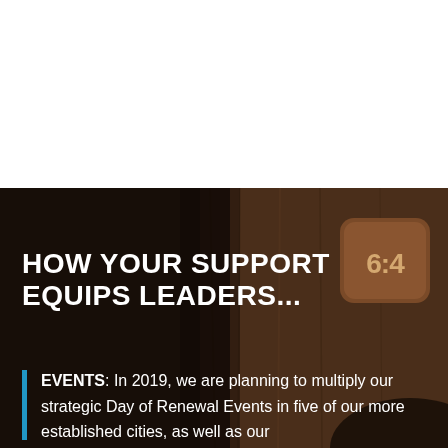[Figure (photo): Dark-toned photograph of a wooden interior room with a visible digital clock showing 6:4 on the right side and dark shadowy foreground]
HOW YOUR SUPPORT EQUIPS LEADERS...
EVENTS: In 2019, we are planning to multiply our strategic Day of Renewal Events in five of our more established cities, as well as our